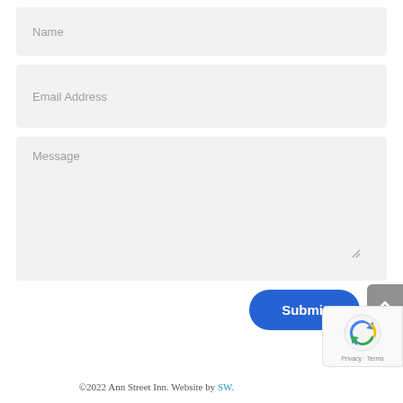[Figure (screenshot): Contact form with Name, Email Address, and Message fields, a blue Submit button, a scroll-to-top button, a reCAPTCHA badge, and a page footer]
©2022 Ann Street Inn. Website by SW.